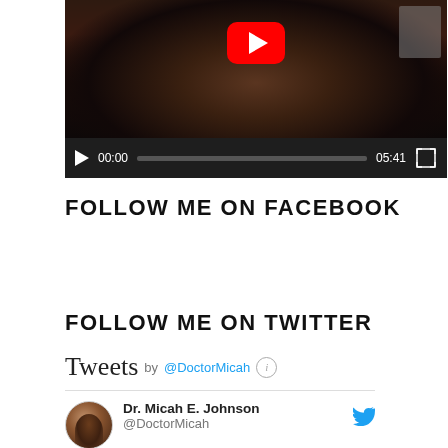[Figure (screenshot): YouTube video player showing a man in dark clothing, with a red YouTube play button overlay. Controls show 00:00 current time, progress bar, 05:41 duration, and fullscreen button.]
FOLLOW ME ON FACEBOOK
FOLLOW ME ON TWITTER
Tweets by @DoctorMicah
Dr. Micah E. Johnson @DoctorMicah
Support what we do:
doctormicahjohnson.com/smile/
#neverhadafriend